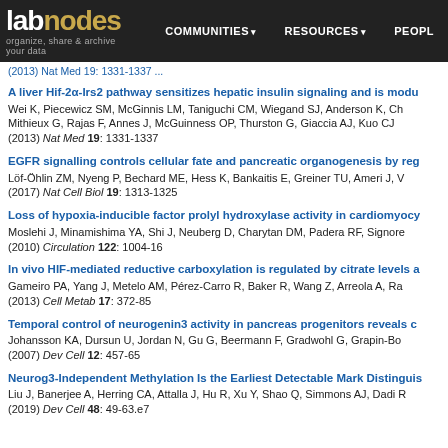labnodes | COMMUNITIES | RESOURCES | PEOPLE
(2013) Nat Med 19: 1331-1337 [continuation]
A liver Hif-2α-Irs2 pathway sensitizes hepatic insulin signaling and is modu... Wei K, Piecewicz SM, McGinnis LM, Taniguchi CM, Wiegand SJ, Anderson K, Ch... Mithieux G, Rajas F, Annes J, McGuinness OP, Thurston G, Giaccia AJ, Kuo CJ (2013) Nat Med 19: 1331-1337
EGFR signalling controls cellular fate and pancreatic organogenesis by reg... Löf-Öhlin ZM, Nyeng P, Bechard ME, Hess K, Bankaitis E, Greiner TU, Ameri J, V... (2017) Nat Cell Biol 19: 1313-1325
Loss of hypoxia-inducible factor prolyl hydroxylase activity in cardiomyocy... Moslehi J, Minamishima YA, Shi J, Neuberg D, Charytan DM, Padera RF, Signore... (2010) Circulation 122: 1004-16
In vivo HIF-mediated reductive carboxylation is regulated by citrate levels a... Gameiro PA, Yang J, Metelo AM, Pérez-Carro R, Baker R, Wang Z, Arreola A, Ra... (2013) Cell Metab 17: 372-85
Temporal control of neurogenin3 activity in pancreas progenitors reveals c... Johansson KA, Dursun U, Jordan N, Gu G, Beermann F, Gradwohl G, Grapin-Bo... (2007) Dev Cell 12: 457-65
Neurog3-Independent Methylation Is the Earliest Detectable Mark Distinguis... Liu J, Banerjee A, Herring CA, Attalla J, Hu R, Xu Y, Shao Q, Simmons AJ, Dadi R... (2019) Dev Cell 48: 49-63.e7